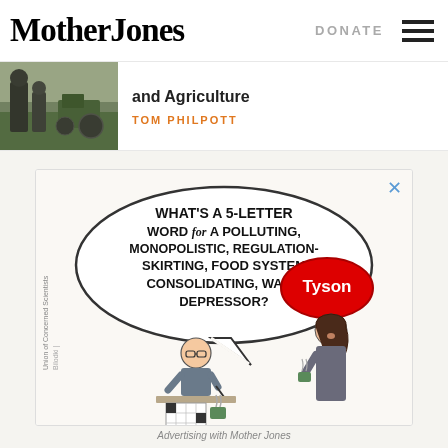Mother Jones | DONATE
and Agriculture
TOM PHILPOTT
[Figure (photo): Black and white photo of person and tractor in field]
[Figure (illustration): Political cartoon advertisement: A person doing a crossword puzzle asks 'What's a 5-letter word for a polluting, monopolistic, regulation-skirting, food system consolidating, wage depressor?' with a 'Tyson' speech bubble answer. Union of Concerned Scientists ad.]
Advertising with Mother Jones